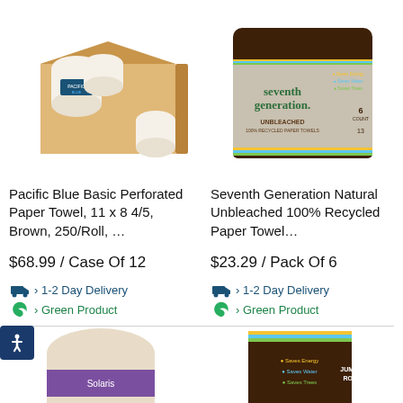[Figure (photo): Pacific Blue Basic paper towel rolls in a cardboard box, showing multiple rolls of brown paper towels with Pacific Blue branding]
[Figure (photo): Seventh Generation Natural Unbleached 100% Recycled Paper Towel pack with brown packaging, labeled 'Saves Energy, Saves Water, Saves Trees']
Pacific Blue Basic Perforated Paper Towel, 11 x 8 4/5, Brown, 250/Roll, …
Seventh Generation Natural Unbleached 100% Recycled Paper Towel…
$68.99 / Case Of 12
$23.29 / Pack Of 6
› 1-2 Day Delivery
› Green Product
› 1-2 Day Delivery
› Green Product
[Figure (photo): A single roll of Solaris paper towel with purple/lavender label]
[Figure (photo): A single roll of Seventh Generation paper towel with dark brown packaging labeled 'Saves Energy, Saves Water, Saves Trees']